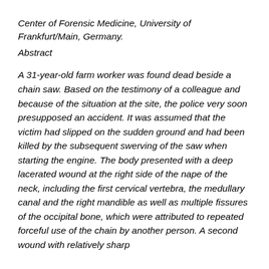Center of Forensic Medicine, University of Frankfurt/Main, Germany.
Abstract
A 31-year-old farm worker was found dead beside a chain saw. Based on the testimony of a colleague and because of the situation at the site, the police very soon presupposed an accident. It was assumed that the victim had slipped on the sudden ground and had been killed by the subsequent swerving of the saw when starting the engine. The body presented with a deep lacerated wound at the right side of the nape of the neck, including the first cervical vertebra, the medullary canal and the right mandible as well as multiple fissures of the occipital bone, which were attributed to repeated forceful use of the chain by another person. A second wound with relatively sharp